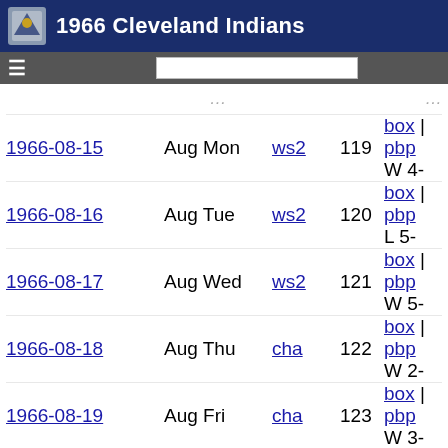1966 Cleveland Indians
| Date | Month/Day | Opp | Gm# | Links | Result |
| --- | --- | --- | --- | --- | --- |
| 1966-08-15 | Aug Mon | ws2 | 119 | box | pbp | W 4- |
| 1966-08-16 | Aug Tue | ws2 | 120 | box | pbp | L 5- |
| 1966-08-17 | Aug Wed | ws2 | 121 | box | pbp | W 5- |
| 1966-08-18 | Aug Thu | cha | 122 | box | pbp | W 2- |
| 1966-08-19 | Aug Fri | cha | 123 | box | pbp | W 3- |
| 1966-08-20 | Aug Sat | cha | 124 | box | pbp | L 1- |
| 1966-08-21 | Aug Sun | cha | 125 | box | pbp | L 2- |
| 1966-08-23 | Aug Tue | BAL | 126 | box | pbp | W 2- |
| 1966-08-24 | Aug Wed | BAL | 127 | box | pbp | W 10- |
| 1966-08-25 | Aug Thu | BAL | 128 | box | pbp | L 3- |
| 1966-08-26 | Aug Fri | WS2 | 129 | box | pbp | L 0- |
| 1966-08-27 | Aug Sat | WS2 | 130 | box | pbp | L 1- |
| 1966-08-28 | Aug Sun | WS2 | 131 | box | pbp | L 2- |